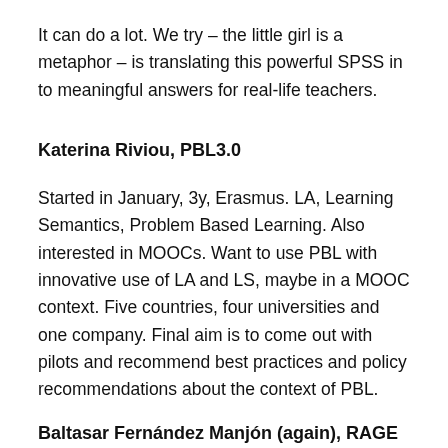It can do a lot. We try – the little girl is a metaphor – is translating this powerful SPSS in to meaningful answers for real-life teachers.
Katerina Riviou, PBL3.0
Started in January, 3y, Erasmus. LA, Learning Semantics, Problem Based Learning. Also interested in MOOCs. Want to use PBL with innovative use of LA and LS, maybe in a MOOC context. Five countries, four universities and one company. Final aim is to come out with pilots and recommend best practices and policy recommendations about the context of PBL.
Baltasar Fernández Manjón (again), RAGE